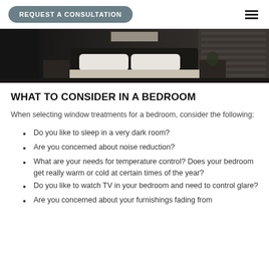REQUEST A CONSULTATION
[Figure (photo): Dark bedroom photo showing a bed with white pillows against a dark headboard, with nightstands on each side and window blinds in the background]
WHAT TO CONSIDER IN A BEDROOM
When selecting window treatments for a bedroom, consider the following:
Do you like to sleep in a very dark room?
Are you concerned about noise reduction?
What are your needs for temperature control? Does your bedroom get really warm or cold at certain times of the year?
Do you like to watch TV in your bedroom and need to control glare?
Are you concerned about your furnishings fading from